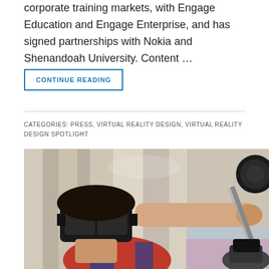corporate training markets, with Engage Education and Engage Enterprise, and has signed partnerships with Nokia and Shenandoah University. Content ...
CONTINUE READING
CATEGORIES: PRESS, VIRTUAL REALITY DESIGN, VIRTUAL REALITY DESIGN SPOTLIGHT
[Figure (photo): Person wearing a VR headset holding a sword or controller in an extended arm pose, wearing a red and blue jersey, with another person visible in the background also wearing a VR headset.]